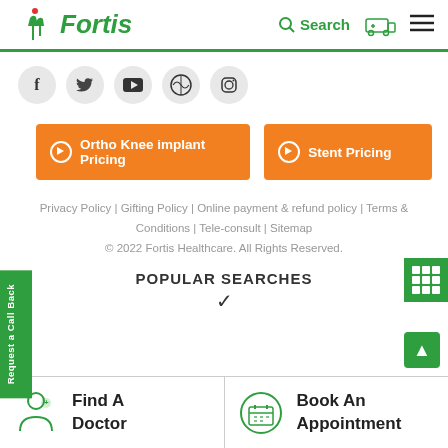Fortis
[Figure (logo): Fortis Healthcare logo with green human figure icon and italic green Fortis text]
[Figure (other): Search icon, ambulance icon, and hamburger menu in header]
[Figure (other): Social media icons row: Facebook, Twitter, YouTube, WordPress, Instagram]
[Figure (other): Green grid widget on right side]
[Figure (other): Green vertical 'Request a Call Back' side tab]
[Figure (other): Orange button: Ortho Knee implant Pricing]
[Figure (other): Orange button: Stent Pricing]
Privacy Policy | Gifting Policy | Online payment & refund policy | Terms & Conditions | Tele-consult | Sitemap
© 2022 Fortis Healthcare. All Rights Reserved.
POPULAR SEARCHES
[Figure (other): Scroll to top green button with up arrow]
[Figure (other): Find A Doctor button with doctor icon at bottom left]
[Figure (other): Book An Appointment button with calendar icon at bottom right]